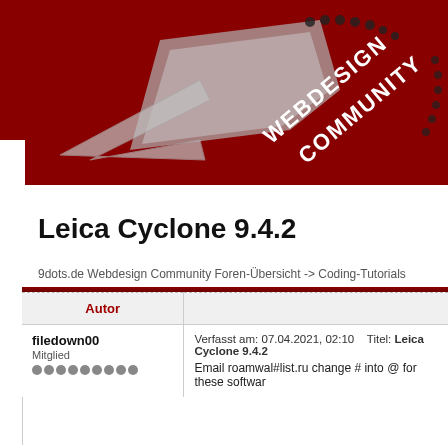[Figure (photo): Red background with silver/chrome webdesign community logo text and emblem on a dark red surface]
Leica Cyclone 9.4.2
9dots.de Webdesign Community Foren-Übersicht -> Coding-Tutorials
| Autor |  |
| --- | --- |
| filedown00
Mitglied | Verfasst am: 07.04.2021, 02:10   Titel: Leica Cyclone 9.4.2
Email roamwal#list.ru change # into @ for these softwar |